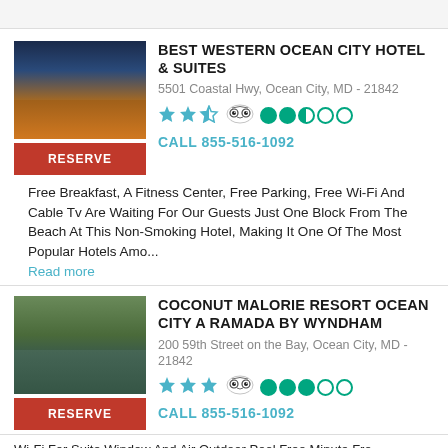[Figure (photo): Photo of Best Western Ocean City Hotel exterior at night with orange-lit facade]
BEST WESTERN OCEAN CITY HOTEL & SUITES
5501 Coastal Hwy, Ocean City, MD - 21842
Star rating: 2.5 stars, TripAdvisor rating: 2.5/5
CALL 855-516-1092
Free Breakfast, A Fitness Center, Free Parking, Free Wi-Fi And Cable Tv Are Waiting For Our Guests Just One Block From The Beach At This Non-Smoking Hotel, Making It One Of The Most Popular Hotels Amo...
Read more
[Figure (photo): Photo of Coconut Malorie Resort with waterway and wooden bridge in foreground]
COCONUT MALORIE RESORT OCEAN CITY A RAMADA BY WYNDHAM
200 59th Street on the Bay, Ocean City, MD - 21842
Star rating: 3 stars, TripAdvisor rating: 3.5/5
CALL 855-516-1092
Wi-Fi For Suite Window And Air Outdoor Pool Free Minute Fro...